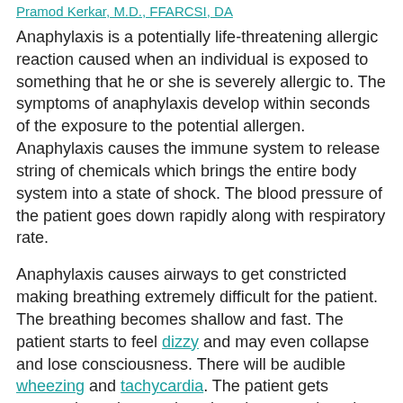Pramod Kerkar, M.D., FFARCSI, DA
Anaphylaxis is a potentially life-threatening allergic reaction caused when an individual is exposed to something that he or she is severely allergic to. The symptoms of anaphylaxis develop within seconds of the exposure to the potential allergen. Anaphylaxis causes the immune system to release string of chemicals which brings the entire body system into a state of shock. The blood pressure of the patient goes down rapidly along with respiratory rate.
Anaphylaxis causes airways to get constricted making breathing extremely difficult for the patient. The breathing becomes shallow and fast. The patient starts to feel dizzy and may even collapse and lose consciousness. There will be audible wheezing and tachycardia. The patient gets extremely anxious and tends to have an altered mental state. There is development of rashes and the skin becomes clammy.
Advertisement